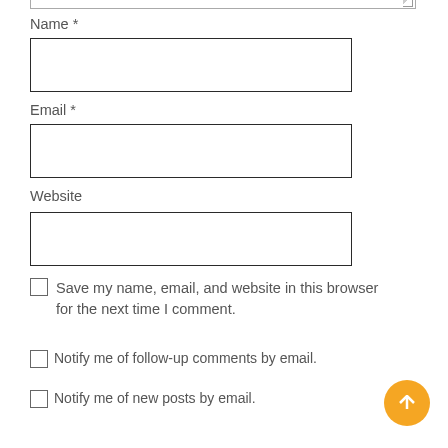Name *
[Figure (other): Empty text input box for Name field]
Email *
[Figure (other): Empty text input box for Email field]
Website
[Figure (other): Empty text input box for Website field]
Save my name, email, and website in this browser for the next time I comment.
Notify me of follow-up comments by email.
Notify me of new posts by email.